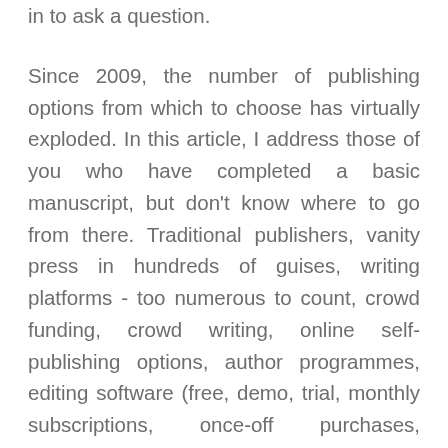in to ask a question.
Since 2009, the number of publishing options from which to choose has virtually exploded. In this article, I address those of you who have completed a basic manuscript, but don't know where to go from there. Traditional publishers, vanity press in hundreds of guises, writing platforms - too numerous to count, crowd funding, crowd writing, online self-publishing options, author programmes, editing software (free, demo, trial, monthly subscriptions, once-off purchases, upgrades), PR 'experts', in fact 'experts' for everything. And then - all that 'free' advice!